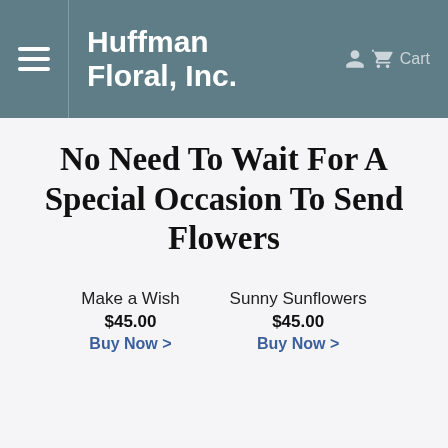Huffman Floral, Inc. — Cart
No Need To Wait For A Special Occasion To Send Flowers
Make a Wish
$45.00
Buy Now >
Sunny Sunflowers
$45.00
Buy Now >